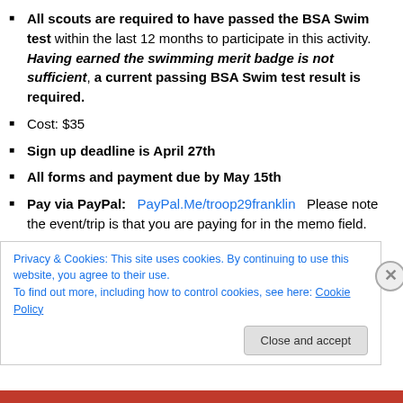All scouts are required to have passed the BSA Swim test within the last 12 months to participate in this activity. Having earned the swimming merit badge is not sufficient, a current passing BSA Swim test result is required.
Cost: $35
Sign up deadline is April 27th
All forms and payment due by May 15th
Pay via PayPal: PayPal.Me/troop29franklin Please note the event/trip is that you are paying for in the memo field.
Privacy & Cookies: This site uses cookies. By continuing to use this website, you agree to their use.
To find out more, including how to control cookies, see here: Cookie Policy
Close and accept